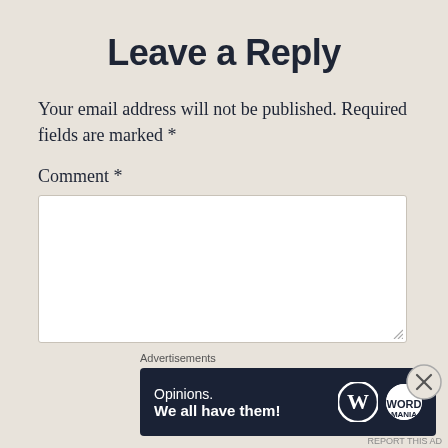Leave a Reply
Your email address will not be published. Required fields are marked *
Comment *
[Figure (screenshot): Empty white comment textarea input box with resize handle]
Name *
[Figure (screenshot): Advertisement banner: 'Opinions. We all have them!' with WordPress and WordMania logos on dark navy background. Close (X) button in corner. 'Advertisements' label above.]